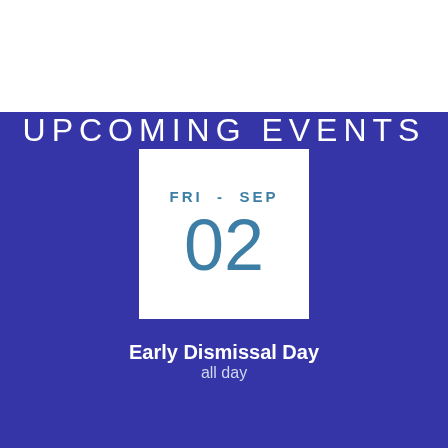UPCOMING EVENTS
[Figure (infographic): Calendar icon showing FRI - SEP 02]
Early Dismissal Day
all day